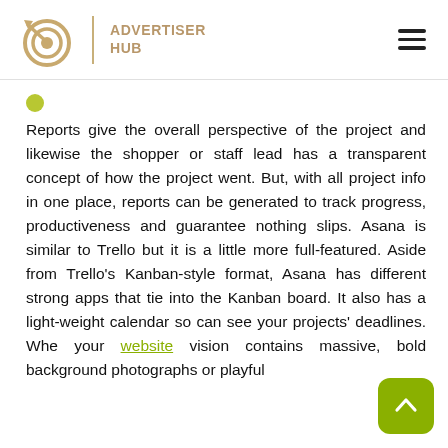ADVERTISER HUB
Reports give the overall perspective of the project and likewise the shopper or staff lead has a transparent concept of how the project went. But, with all project info in one place, reports can be generated to track progress, productiveness and guarantee nothing slips. Asana is similar to Trello but it is a little more full-featured. Aside from Trello's Kanban-style format, Asana has different strong apps that tie into the Kanban board. It also has a light-weight calendar so can see your projects' deadlines. When your website vision contains massive, bold background photographs or playful